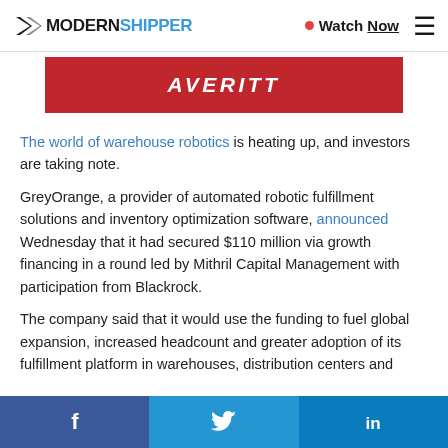MODERN SHIPPER — Watch Now
[Figure (logo): Averitt red banner advertisement]
The world of warehouse robotics is heating up, and investors are taking note.
GreyOrange, a provider of automated robotic fulfillment solutions and inventory optimization software, announced Wednesday that it had secured $110 million via growth financing in a round led by Mithril Capital Management with participation from Blackrock.
The company said that it would use the funding to fuel global expansion, increased headcount and greater adoption of its fulfillment platform in warehouses, distribution centers and
Facebook  Twitter  LinkedIn